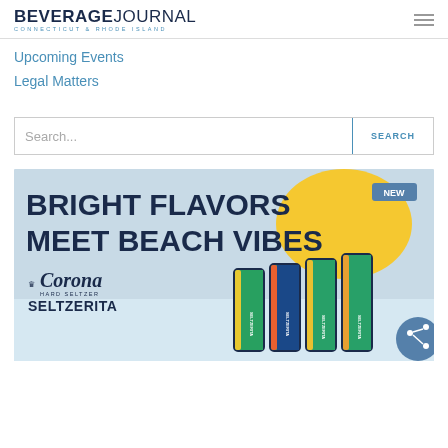BEVERAGE JOURNAL — Connecticut & Rhode Island
Upcoming Events
Legal Matters
Search...
[Figure (illustration): Corona Hard Seltzer Seltzerita advertisement. Headline: BRIGHT FLAVORS MEET BEACH VIBES. Shows multiple Seltzerita cans with colorful labels (green/red/yellow borders). NEW badge in upper right. Corona logo with crown, HARD SELTZER and SELTZERITA text at lower left. Yellow blob accent shape. Sandy/watery beach background.]